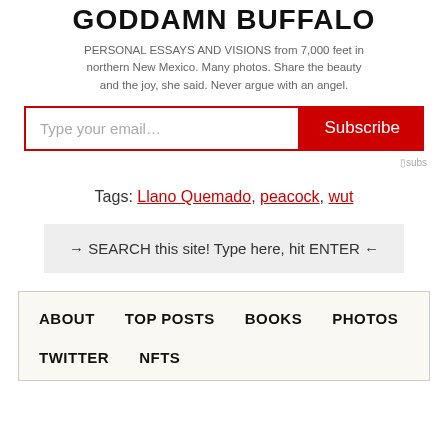GODDAMN BUFFALO
PERSONAL ESSAYS AND VISIONS from 7,000 feet in northern New Mexico. Many photos. Share the beauty and the joy, she said. Never argue with an angel.
Type your email… Subscribe
⊓ subs
Tags: Llano Quemado, peacock, wut
→ SEARCH this site! Type here, hit ENTER ←
ABOUT   TOP POSTS   BOOKS   PHOTOS   TWITTER   NFTS